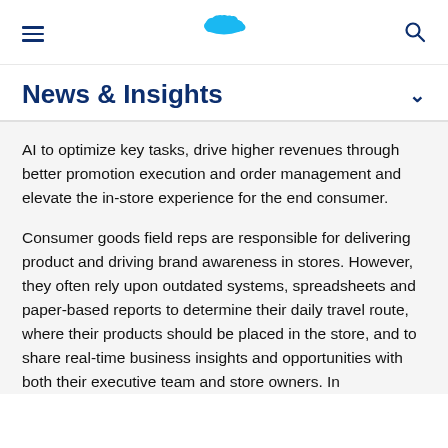[Figure (logo): Salesforce cloud logo centered in the page header, blue cloud shape]
News & Insights
AI to optimize key tasks, drive higher revenues through better promotion execution and order management and elevate the in-store experience for the end consumer.
Consumer goods field reps are responsible for delivering product and driving brand awareness in stores. However, they often rely upon outdated systems, spreadsheets and paper-based reports to determine their daily travel route, where their products should be placed in the store, and to share real-time business insights and opportunities with both their executive team and store owners. In